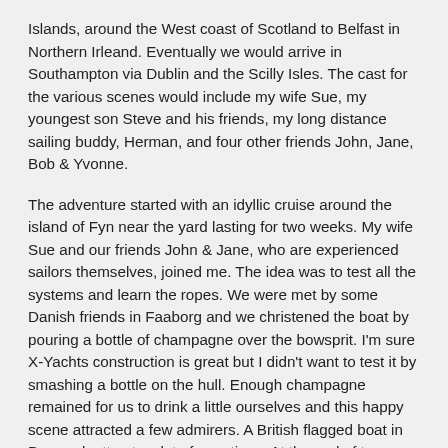Islands, around the West coast of Scotland to Belfast in Northern Irleand. Eventually we would arrive in Southampton via Dublin and the Scilly Isles. The cast for the various scenes would include my wife Sue, my youngest son Steve and his friends, my long distance sailing buddy, Herman, and four other friends John, Jane, Bob & Yvonne.
The adventure started with an idyllic cruise around the island of Fyn near the yard lasting for two weeks. My wife Sue and our friends John & Jane, who are experienced sailors themselves, joined me. The idea was to test all the systems and learn the ropes. We were met by some Danish friends in Faaborg and we christened the boat by pouring a bottle of champagne over the bowsprit. I'm sure X-Yachts construction is great but I didn't want to test it by smashing a bottle on the hull. Enough champagne remained for us to drink a little ourselves and this happy scene attracted a few admirers. A British flagged boat in Denmark attracts a lot of questions. At the end of two weeks in the sun and light winds we had tested what we could and returned to the yard for X-Yachts to